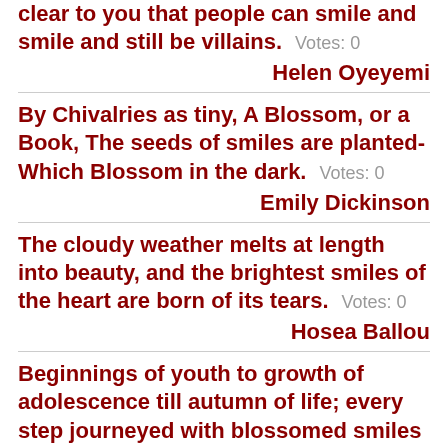clear to you that people can smile and smile and still be villains. Votes: 0
Helen Oyeyemi
By Chivalries as tiny, A Blossom, or a Book, The seeds of smiles are planted- Which Blossom in the dark. Votes: 0
Emily Dickinson
The cloudy weather melts at length into beauty, and the brightest smiles of the heart are born of its tears. Votes: 0
Hosea Ballou
Beginnings of youth to growth of adolescence till autumn of life; every step journeyed with blossomed smiles wearing my dancing shoes.